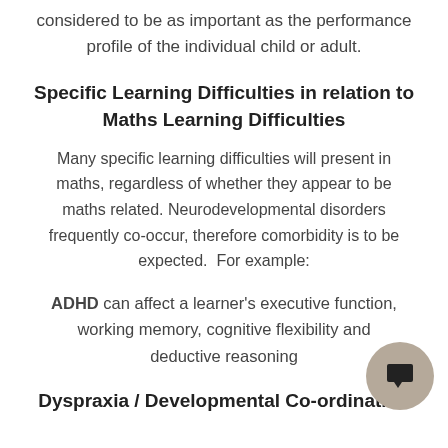considered to be as important as the performance profile of the individual child or adult.
Specific Learning Difficulties in relation to Maths Learning Difficulties
Many specific learning difficulties will present in maths, regardless of whether they appear to be maths related. Neurodevelopmental disorders frequently co-occur, therefore comorbidity is to be expected.  For example:
ADHD can affect a learner's executive function, working memory, cognitive flexibility and deductive reasoning
Dyspraxia / Developmental Co-ordination